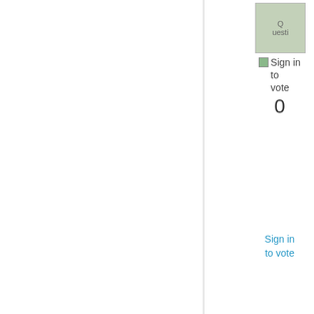[Figure (screenshot): Question icon image thumbnail]
[Figure (screenshot): Sign in to vote arrow icon with vote count 0]
Sign in to vote
Hi,

in addition to Znack's question:

There are some situations that may force an application (pakage) to unload

- the cache file has been reset entirely (all applications show 0%): This can be caused by regualr maintenance or by corruptions in the cache file